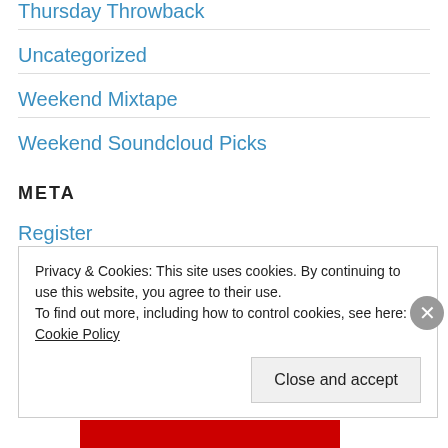Thursday Throwback
Uncategorized
Weekend Mixtape
Weekend Soundcloud Picks
META
Register
Privacy & Cookies: This site uses cookies. By continuing to use this website, you agree to their use.
To find out more, including how to control cookies, see here: Cookie Policy
Close and accept